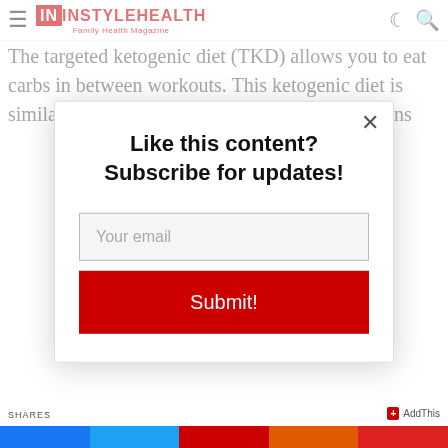InStyleHealth Family Health Magazine
The targeted ketogenic diet (TKD) allows you to eat carbs in between workouts. This ketogenic diet is similar to a standard ketogenic diet, but it contains
Like this content? Subscribe for updates!
Your email
Submit!
SHARES
AddThis